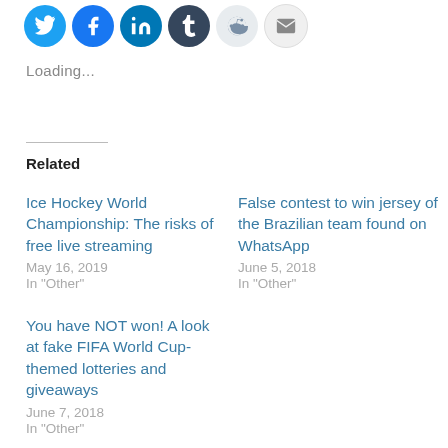[Figure (other): Row of social media sharing icon buttons: Twitter (blue), Facebook (blue), LinkedIn (blue), Tumblr (dark), Reddit (light gray), Email (light gray)]
Loading...
Related
Ice Hockey World Championship: The risks of free live streaming
May 16, 2019
In "Other"
False contest to win jersey of the Brazilian team found on WhatsApp
June 5, 2018
In "Other"
You have NOT won! A look at fake FIFA World Cup-themed lotteries and giveaways
June 7, 2018
In "Other"